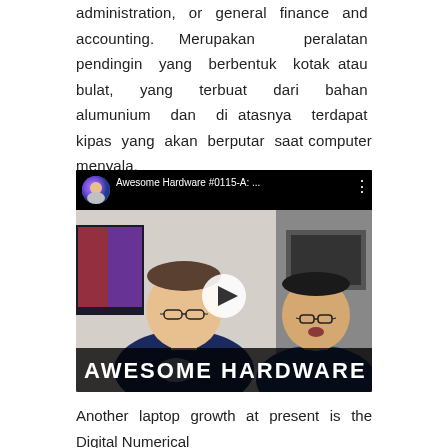administration, or general finance and accounting. Merupakan peralatan pendingin yang berbentuk kotak atau bulat, yang terbuat dari bahan alumunium dan di atasnya terdapat kipas yang akan berputar saat computer menyala.
[Figure (screenshot): YouTube video embed showing two men sitting at computers, one wearing glasses and a dark t-shirt on the left, another on the right also wearing glasses. A play button is visible in the center. The video title bar shows 'Awesome Hardware #0115-A: ...' with a channel avatar. The bottom bar shows 'AWESOME HARDWARE #0115-A' in large bold white Impact font.]
Another laptop growth at present is the Digital Numerical